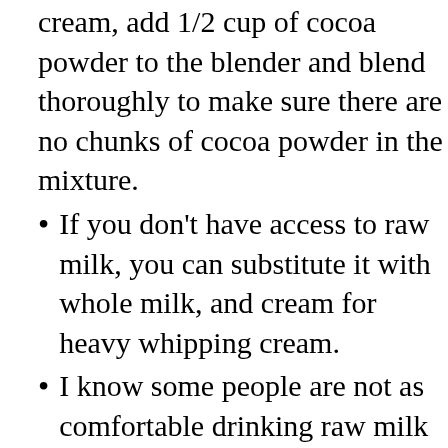cream, add 1/2 cup of cocoa powder to the blender and blend thoroughly to make sure there are no chunks of cocoa powder in the mixture.
If you don’t have access to raw milk, you can substitute it with whole milk, and cream for heavy whipping cream.
I know some people are not as comfortable drinking raw milk and raw eggs. If this is you, you can mix together all the ingredients over a double boiler and slowly heat the ice cream base to cook the eggs. Then